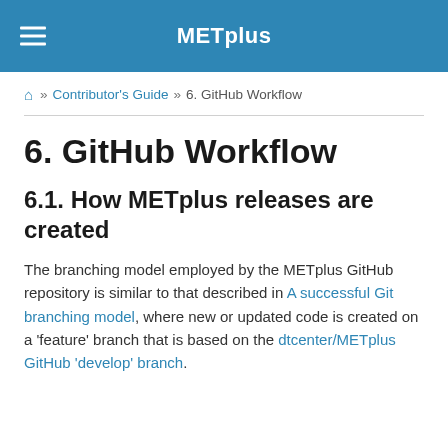METplus
Home » Contributor's Guide » 6. GitHub Workflow
6. GitHub Workflow
6.1. How METplus releases are created
The branching model employed by the METplus GitHub repository is similar to that described in A successful Git branching model, where new or updated code is created on a 'feature' branch that is based on the dtcenter/METplus GitHub 'develop' branch.